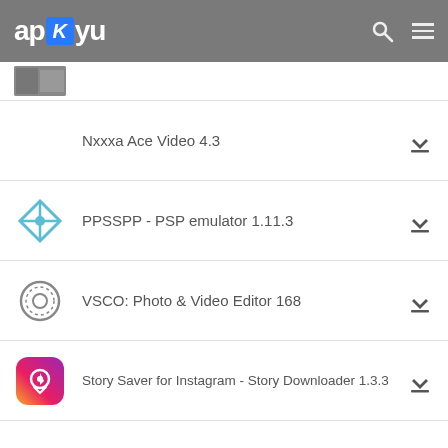apKyu
Nxxxa Ace Video 4.3
PPSSPP - PSP emulator 1.11.3
VSCO: Photo & Video Editor 168
Story Saver for Instagram - Story Downloader 1.3.3
Si MonTok VPN Pemersatu Bangsa 1.0.0
OREO TV 1.8.5